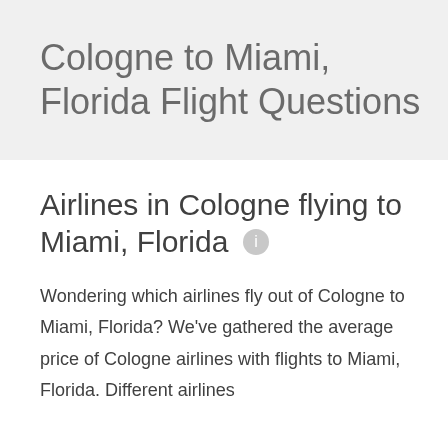Cologne to Miami, Florida Flight Questions
Airlines in Cologne flying to Miami, Florida
Wondering which airlines fly out of Cologne to Miami, Florida? We've gathered the average price of Cologne airlines with flights to Miami, Florida. Different airlines